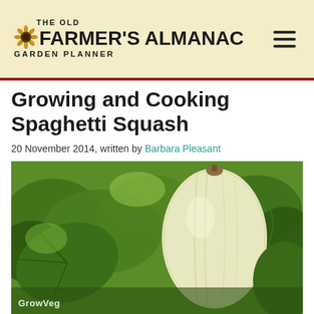THE OLD FARMER'S ALMANAC GARDEN PLANNER
Growing and Cooking Spaghetti Squash
20 November 2014, written by Barbara Pleasant
[Figure (photo): A pale yellow-white spaghetti squash hanging on the vine, surrounded by large green squash leaves and curling tendrils. Photo credit: GrowVeg]